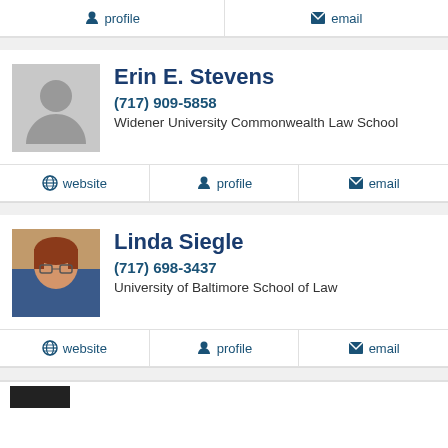profile | email
Erin E. Stevens
(717) 909-5858
Widener University Commonwealth Law School
website | profile | email
Linda Siegle
(717) 698-3437
University of Baltimore School of Law
website | profile | email